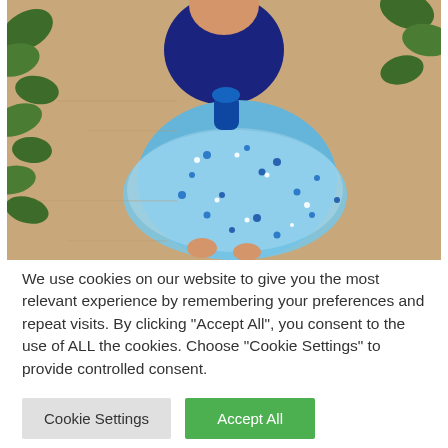[Figure (photo): Aerial/overhead view of a child wearing a blue sparkly dress with sequins and dark blue top, surrounded by green ivy leaves on a tan/burlap background. Small hands are visible at the bottom of the dress.]
We use cookies on our website to give you the most relevant experience by remembering your preferences and repeat visits. By clicking "Accept All", you consent to the use of ALL the cookies. Choose "Cookie Settings" to provide controlled consent.
Cookie Settings
Accept All